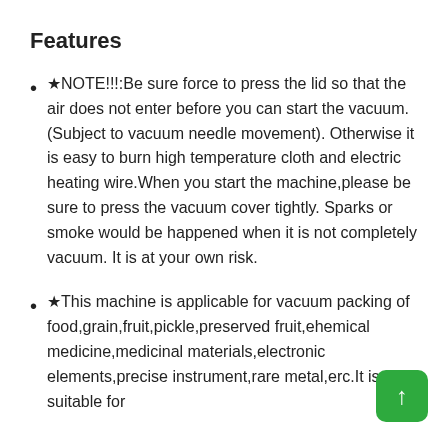Features
★NOTE!!!:Be sure force to press the lid so that the air does not enter before you can start the vacuum. (Subject to vacuum needle movement). Otherwise it is easy to burn high temperature cloth and electric heating wire.When you start the machine,please be sure to press the vacuum cover tightly. Sparks or smoke would be happened when it is not completely vacuum. It is at your own risk.
★This machine is applicable for vacuum packing of food,grain,fruit,pickle,preserved fruit,ehemical medicine,medicinal materials,electronic elements,precise instrument,rare metal,erc.It is also suitable for